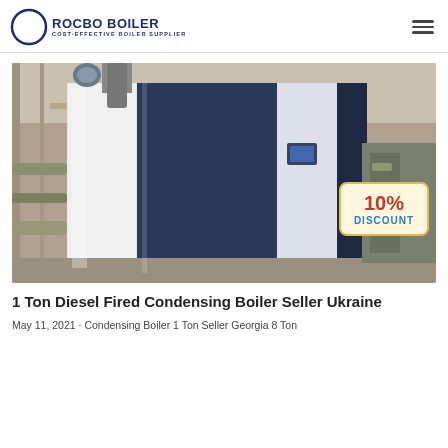ROCBO BOILER — COST-EFFECTIVE BOILER SUPPLIER
[Figure (photo): Industrial condensing boiler unit in a factory setting, white and dark blue casing, with a '10% DISCOUNT' badge overlay in the bottom right corner.]
1 Ton Diesel Fired Condensing Boiler Seller Ukraine
May 11, 2021 · Condensing Boiler 1 Ton Seller Georgia 8 Ton